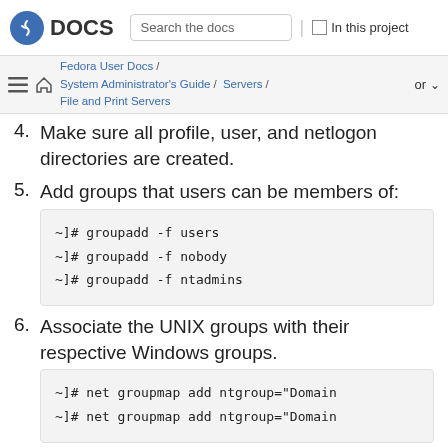DOCS | Search the docs | In this project
Fedora User Docs / System Administrator's Guide / Servers / File and Print Servers | or
4. Make sure all profile, user, and netlogon directories are created.
5. Add groups that users can be members of:
~]# groupadd -f users
~]# groupadd -f nobody
~]# groupadd -f ntadmins
6. Associate the UNIX groups with their respective Windows groups.
~]# net groupmap add ntgroup="Domain
~]# net groupmap add ntgroup="Domain